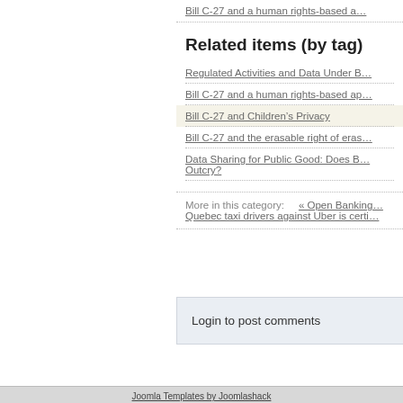Bill C-27 and a human rights-based a…
Related items (by tag)
Regulated Activities and Data Under B…
Bill C-27 and a human rights-based ap…
Bill C-27 and Children's Privacy
Bill C-27 and the erasable right of eras…
Data Sharing for Public Good: Does B… Outcry?
More in this category:    « Open Banking… Quebec taxi drivers against Uber is certi…
Login to post comments
Joomla Templates by Joomlashack